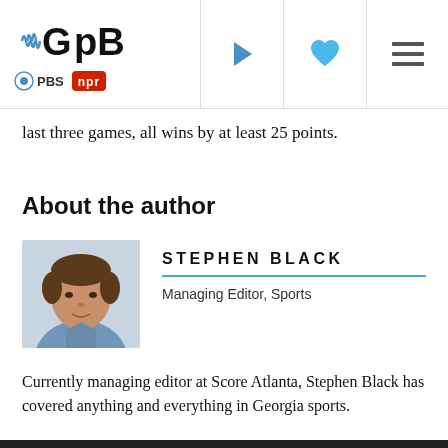GPB | PBS | NPR — navigation header with play, heart, and menu icons
last three games, all wins by at least 25 points.
About the author
[Figure (photo): Headshot photo of Stephen Black, a man in a blue polo shirt]
STEPHEN BLACK
Managing Editor, Sports
Currently managing editor at Score Atlanta, Stephen Black has covered anything and everything in Georgia sports.
bottom dark bar